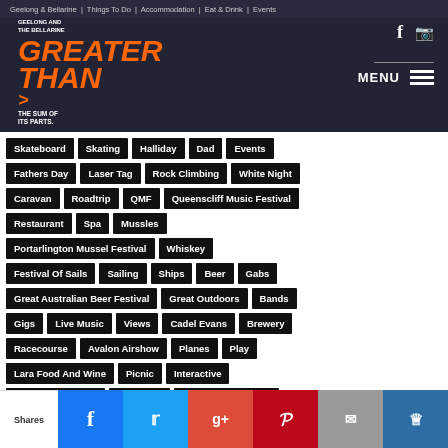[Figure (screenshot): Website header with Geelong and The Bellarine Greater Than logo, navigation, and social icons]
Skateboard
Skating
Halliday
Dad
Events
Fathers Day
Laser Tag
Rock Climbing
White Night
Caravan
Roadtrip
QMF
Queenscliff Music Festival
Restaurant
Spa
Mussles
Portarlington Mussel Festival
Whiskey
Festival Of Sails
Sailing
Ships
Beer
Gabs
Great Australian Beer Festival
Great Outdoors
Bands
Gigs
Live Music
Views
Cadel Evans
Brewery
Racecourse
Avalon Airshow
Planes
Play
Lara Food And Wine
Picnic
Interactive
Low Light Festival
Hands On
Bellarine Taste Trail
Taste Trail
Geelong Botanic Gardens
Sunshine
Shares